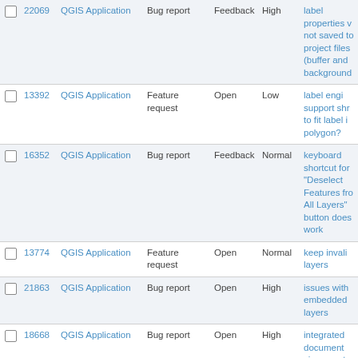|  | # | Project | Tracker | Status | Priority | Subject |
| --- | --- | --- | --- | --- | --- | --- |
|  | 22069 | QGIS Application | Bug report | Feedback | High | label properties v not saved to project files (buffer and background |
|  | 13392 | QGIS Application | Feature request | Open | Low | label engi support shr to fit label i polygon? |
|  | 16352 | QGIS Application | Bug report | Feedback | Normal | keyboard shortcut for "Deselect Features fr All Layers" button does work |
|  | 13774 | QGIS Application | Feature request | Open | Normal | keep invali layers |
|  | 21863 | QGIS Application | Bug report | Open | High | issues with embedded layers |
|  | 18668 | QGIS Application | Bug report | Open | High | integrated document viewer not working |
|  | 21200 | QGIS Application | Bug report | Open | Normal | installation differences you change the installat directory of QGIS |